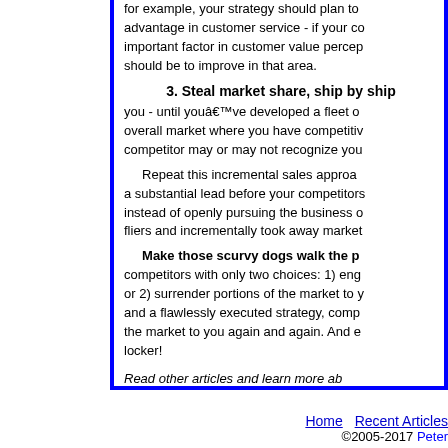for example, your strategy should plan to advantage in customer service - if your co important factor in customer value percep should be to improve in that area.
3. Steal market share, ship by ship
you - until youâ€™ve developed a fleet o overall market where you have competitiv competitor may or may not recognize you
Repeat this incremental sales approa a substantial lead before your competitors instead of openly pursuing the business o fliers and incrementally took away market
Make those scurvy dogs walk the p competitors with only two choices: 1) eng or 2) surrender portions of the market to y and a flawlessly executed strategy, comp the market to you again and again. And e locker!
Read other articles and learn more ab
[This article is available at no-cost, on a non-exclusive
Home   Recent Articles
©2005-2017 Peter